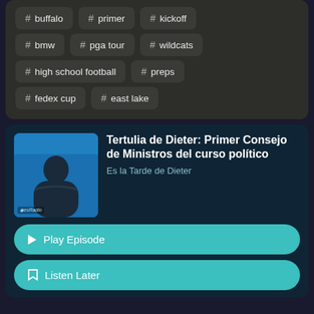# buffalo
# primer
# kickoff
# bmw
# pga tour
# wildcats
# high school football
# preps
# fedex cup
# east lake
[Figure (photo): Podcast thumbnail for Es la Tarde de Dieter showing a bearded man in dark shirt against blue background]
Tertulia de Dieter: Primer Consejo de Ministros del curso político
Es la Tarde de Dieter
▶ Play Episode
🔖 Listen Later